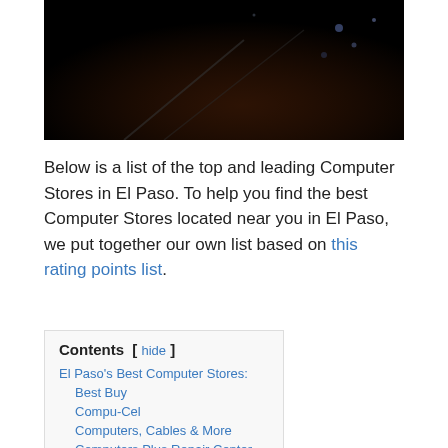[Figure (photo): Dark background photo, likely a close-up of electronic/computer equipment against a dark/night background with some bokeh lights]
Below is a list of the top and leading Computer Stores in El Paso. To help you find the best Computer Stores located near you in El Paso, we put together our own list based on this rating points list.
El Paso's Best Computer Stores:
Best Buy
Compu-Cel
Computers, Cables & More
Computers Plus Repair Center
Office Depot